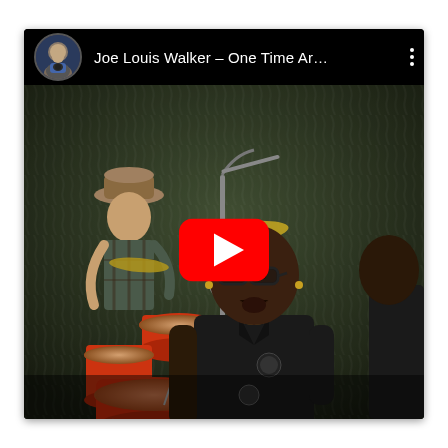[Figure (screenshot): YouTube video thumbnail screenshot showing Joe Louis Walker performing live on stage. The video title bar reads 'Joe Louis Walker - One Time Ar...' with a user avatar and three-dot menu. The main image shows a Black man in a black shirt singing into a microphone, with a drummer wearing a hat visible in the background next to a red drum kit, against a dark textured curtain backdrop. A red YouTube play button is overlaid in the center of the video.]